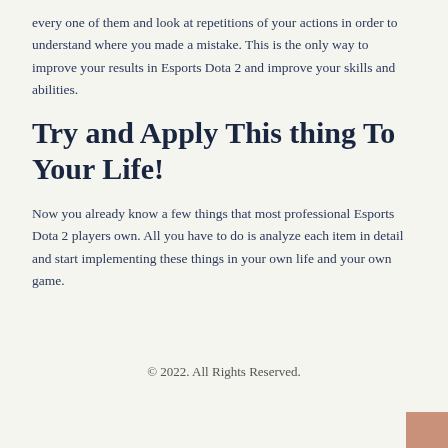every one of them and look at repetitions of your actions in order to understand where you made a mistake. This is the only way to improve your results in Esports Dota 2 and improve your skills and abilities.
Try and Apply This thing To Your Life!
Now you already know a few things that most professional Esports Dota 2 players own. All you have to do is analyze each item in detail and start implementing these things in your own life and your own game.
© 2022. All Rights Reserved.